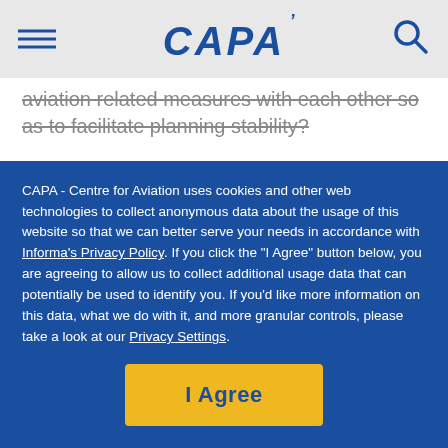CAPA
aviation related measures with each other so as to facilitate planning stability?
And will aviation, in a probable scenario of ongoing mistrust between Russia and its political allies on the one hand, and the rest of the world on the other, be able to function as a market in a post-war era determined by national debts, military expenditures and woefully underfinanced airlines? Who will fund the urgently required
CAPA - Centre for Aviation uses cookies and other web technologies to collect anonymous data about the usage of this website so that we can better serve your needs in accordance with Informa's Privacy Policy. If you click the "I Agree" button below, you are agreeing to allow us to collect additional usage data that can potentially be used to identify you. If you'd like more information on this data, what we do with it, and more granular controls, please take a look at our Privacy Settings.
I Agree